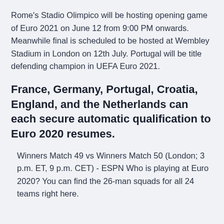Rome's Stadio Olimpico will be hosting opening game of Euro 2021 on June 12 from 9:00 PM onwards. Meanwhile final is scheduled to be hosted at Wembley Stadium in London on 12th July. Portugal will be title defending champion in UEFA Euro 2021.
France, Germany, Portugal, Croatia, England, and the Netherlands can each secure automatic qualification to Euro 2020 resumes.
Winners Match 49 vs Winners Match 50 (London; 3 p.m. ET, 9 p.m. CET) - ESPN Who is playing at Euro 2020? You can find the 26-man squads for all 24 teams right here.